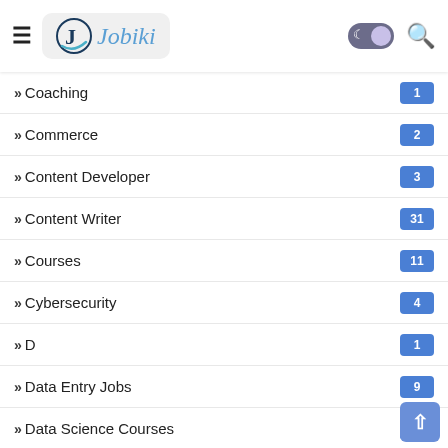Jobiki
Coaching 1
Commerce 2
Content Developer 3
Content Writer 31
Courses 11
Cybersecurity 4
D 1
Data Entry Jobs 9
Data Science Courses 1
Data Visualization Courses 1
Degree 628